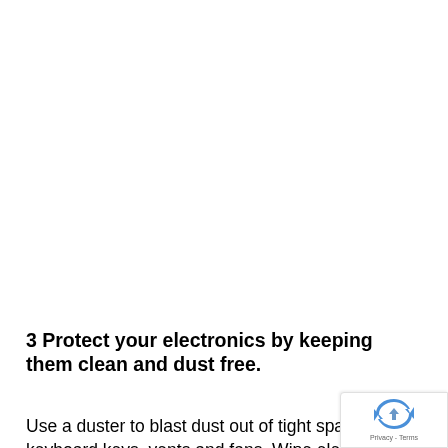3 Protect your electronics by keeping them clean and dust free.
Use a duster to blast dust out of tight spaces like keyboard keys, vents and fans. Wipe electronics with